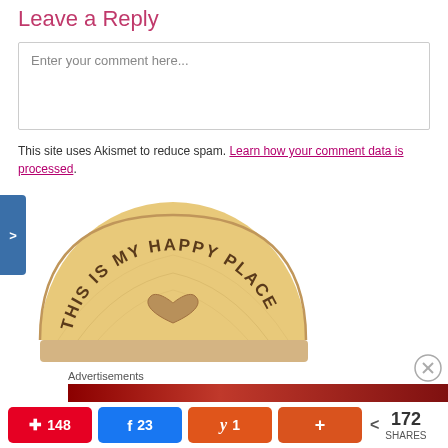Leave a Reply
Enter your comment here...
This site uses Akismet to reduce spam. Learn how your comment data is processed.
[Figure (photo): A semicircular wooden plaque with engraved text reading THIS IS MY HAPPY PLACE in an arc, with a carved heart shape in the center, mounted on a wooden base.]
Advertisements
Pinterest 148 | Facebook 23 | Yummly 1 | More | < 172 SHARES